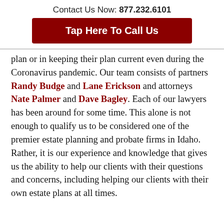Contact Us Now: 877.232.6101
Tap Here To Call Us
plan or in keeping their plan current even during the Coronavirus pandemic. Our team consists of partners Randy Budge and Lane Erickson and attorneys Nate Palmer and Dave Bagley. Each of our lawyers has been around for some time. This alone is not enough to qualify us to be considered one of the premier estate planning and probate firms in Idaho. Rather, it is our experience and knowledge that gives us the ability to help our clients with their questions and concerns, including helping our clients with their own estate plans at all times.